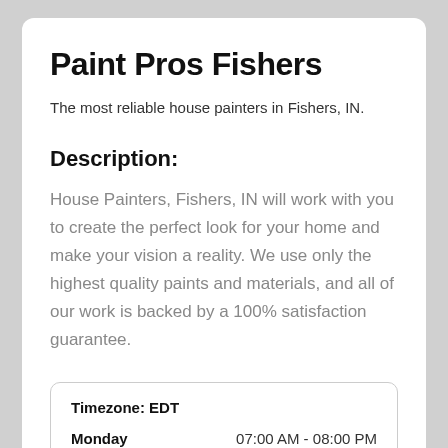Paint Pros Fishers
The most reliable house painters in Fishers, IN.
Description:
House Painters, Fishers, IN will work with you to create the perfect look for your home and make your vision a reality. We use only the highest quality paints and materials, and all of our work is backed by a 100% satisfaction guarantee.
|  |  |
| --- | --- |
| Timezone: EDT |  |
| Monday | 07:00 AM - 08:00 PM |